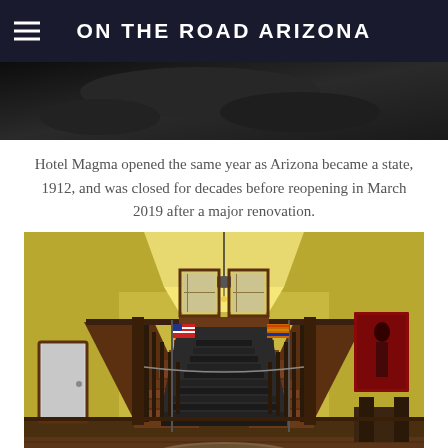ON THE ROAD ARIZONA
[Figure (photo): Dark interior photo visible at the top of the page behind the header]
Hotel Magma opened the same year as Arizona became a state, 1912, and was closed for decades before reopening in March 2019 after a major renovation.
[Figure (photo): Interior of Hotel Magma lobby showing a grand staircase with dark wood railings, yellow walls, American flag and Arizona state flag on either side of the stairs, two windows above the landing, a chandelier, hardwood floors, a round rug, and a floral arrangement in the foreground.]